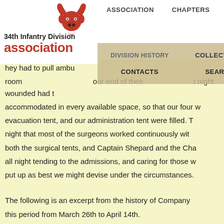ASSOCIATION   CHAPTERS
34th Infantry Division
association
DIVISION HISTORY   COLLECTIONS   CONTACTS   SEARCH
they had to pull ambu- ... room ... our end of their ... t night wounded had t accommodated in every available space, so that our four w evacuation tent, and our administration tent were filled. T night that most of the surgeons worked continuously wit both the surgical tents, and Captain Shepard and the Cha all night tending to the admissions, and caring for those v put up as best we might devise under the circumstances.
The following is an excerpt from the history of Company this period from March 26th to April 14th.